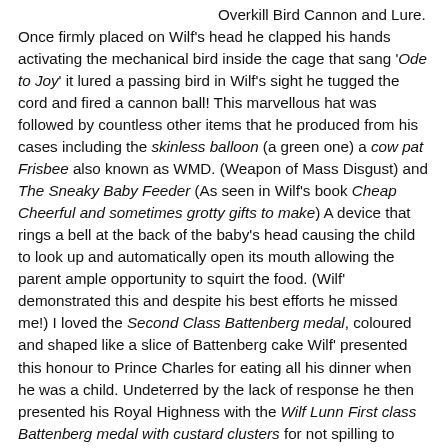Overkill Bird Cannon and Lure. Once firmly placed on Wilf's head he clapped his hands activating the mechanical bird inside the cage that sang 'Ode to Joy' it lured a passing bird in Wilf's sight he tugged the cord and fired a cannon ball! This marvellous hat was followed by countless other items that he produced from his cases including the skinless balloon (a green one) a cow pat Frisbee also known as WMD. (Weapon of Mass Disgust) and The Sneaky Baby Feeder (As seen in Wilf's book Cheap Cheerful and sometimes grotty gifts to make) A device that rings a bell at the back of the baby's head causing the child to look up and automatically open its mouth allowing the parent ample opportunity to squirt the food. (Wilf' demonstrated this and despite his best efforts he missed me!) I loved the Second Class Battenberg medal, coloured and shaped like a slice of Battenberg cake Wilf' presented this honour to Prince Charles for eating all his dinner when he was a child. Undeterred by the lack of response he then presented his Royal Highness with the Wilf Lunn First class Battenberg medal with custard clusters for not spilling to which he received a thank you letter from Buckingham Palace! Wilf' even set out to aid the farming community reacting to